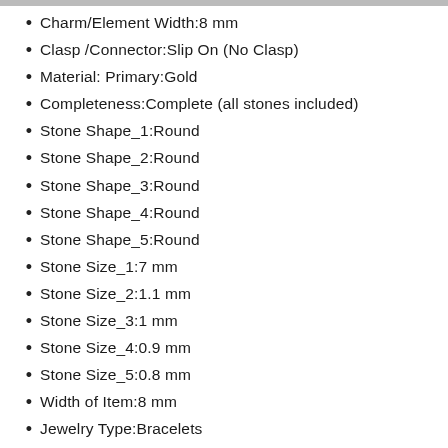Charm/Element Width:8 mm
Clasp /Connector:Slip On (No Clasp)
Material: Primary:Gold
Completeness:Complete (all stones included)
Stone Shape_1:Round
Stone Shape_2:Round
Stone Shape_3:Round
Stone Shape_4:Round
Stone Shape_5:Round
Stone Size_1:7 mm
Stone Size_2:1.1 mm
Stone Size_3:1 mm
Stone Size_4:0.9 mm
Stone Size_5:0.8 mm
Width of Item:8 mm
Jewelry Type:Bracelets
Sold By Unit:Each
Bracelet Type:Gemstones
Material: Primary - Color:White
Stone Creation Method_2:Natural
Stone Creation Method_3:Natural